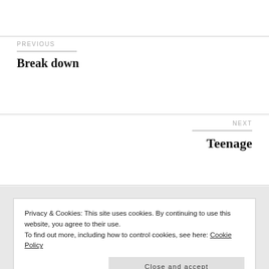PREVIOUS
Break down
NEXT
Teenage
Privacy & Cookies: This site uses cookies. By continuing to use this website, you agree to their use.
To find out more, including how to control cookies, see here: Cookie Policy
Close and accept